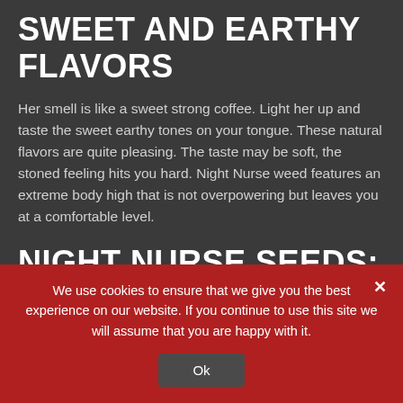SWEET AND EARTHY FLAVORS
Her smell is like a sweet strong coffee. Light her up and taste the sweet earthy tones on your tongue. These natural flavors are quite pleasing. The taste may be soft, the stoned feeling hits you hard. Night Nurse weed features an extreme body high that is not overpowering but leaves you at a comfortable level.
NIGHT NURSE SEEDS: FOR MEDICAL PURPOSES
We use cookies to ensure that we give you the best experience on our website. If you continue to use this site we will assume that you are happy with it.